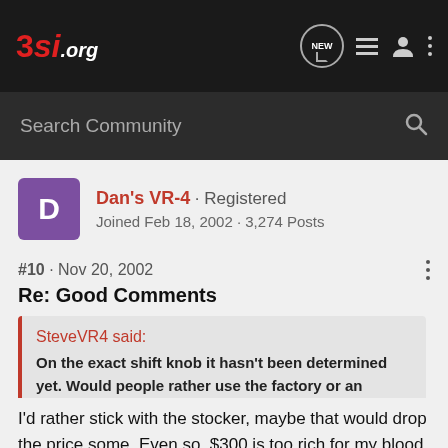3si.org
Search Community
Dan's VR-4 · Registered
Joined Feb 18, 2002 · 3,274 Posts
#10 · Nov 20, 2002
Re: Good Comments
SteveVR4 said:
On the exact shift knob it hasn't been determined yet. Would people rather use the factory or an aftermarket one?
I'd rather stick with the stocker, maybe that would drop the price some. Even so, $300 is too rich for my blood. I'm sure it's great and I appreciate the new product but I can't swing it right now